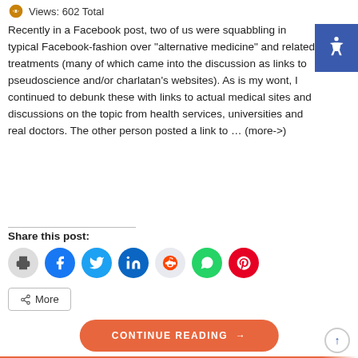Views: 602 Total
Recently in a Facebook post, two of us were squabbling in typical Facebook-fashion over “alternative medicine” and related treatments (many of which came into the discussion as links to pseudoscience and/or charlatan's websites). As is my wont, I continued to debunk these with links to actual medical sites and discussions on the topic from health services, universities and real doctors. The other person posted a link to … (more->)
Share this post:
[Figure (infographic): Social sharing icons: print, Facebook, Twitter, LinkedIn, Reddit, WhatsApp, Pinterest]
More
CONTINUE READING →